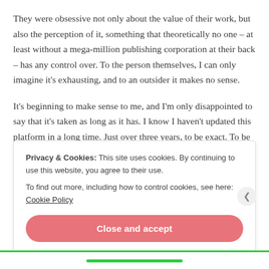They were obsessive not only about the value of their work, but also the perception of it, something that theoretically no one – at least without a mega-million publishing corporation at their back – has any control over. To the person themselves, I can only imagine it's exhausting, and to an outsider it makes no sense.
It's beginning to make sense to me, and I'm only disappointed to say that it's taken as long as it has. I know I haven't updated this platform in a long time. Just over three years, to be exact. To be painfully honest I ran out of money to continue buying supplies and
Privacy & Cookies: This site uses cookies. By continuing to use this website, you agree to their use.
To find out more, including how to control cookies, see here: Cookie Policy
Close and accept